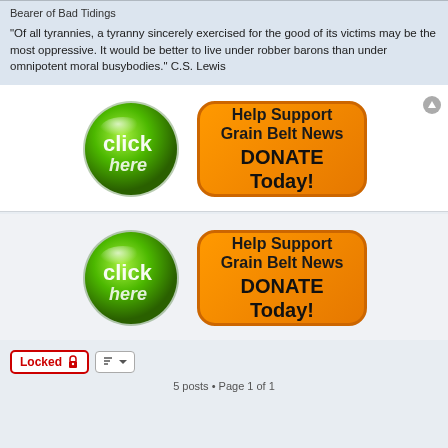Bearer of Bad Tidings
"Of all tyrannies, a tyranny sincerely exercised for the good of its victims may be the most oppressive. It would be better to live under robber barons than under omnipotent moral busybodies." C.S. Lewis
[Figure (infographic): Green glossy click-here button circle next to orange rounded rectangle reading 'Help Support Grain Belt News DONATE Today!']
[Figure (infographic): Second identical green glossy click-here button circle next to orange rounded rectangle reading 'Help Support Grain Belt News DONATE Today!']
Locked 🔒
5 posts • Page 1 of 1